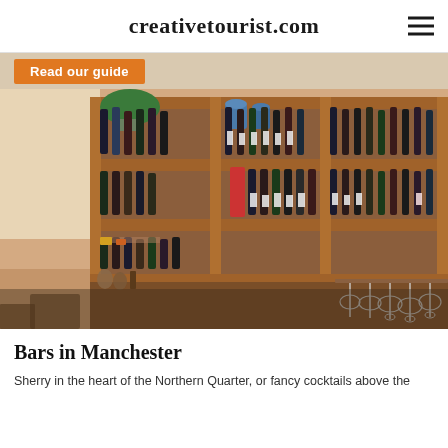creativetourist.com
Read our guide
[Figure (photo): Interior of a wine bar showing wooden shelving units filled with bottles of wine, and wine glasses hanging from a rack below. The shelves are warm wood-toned, multi-level, with numerous wine bottles displayed upright and horizontally.]
Bars in Manchester
Sherry in the heart of the Northern Quarter, or fancy cocktails above the